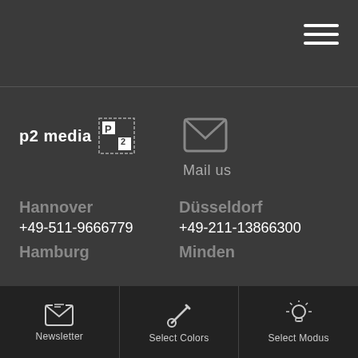[Figure (logo): Hamburger menu icon (three horizontal white lines) in top-right corner]
[Figure (logo): p2 media logo with stylized P2 icon]
[Figure (illustration): Envelope/mail icon in grey]
Mail us
Hannover
+49-511-9666779
Düsseldorf
+49-211-13866300
Hamburg
Minden
[Figure (illustration): Newsletter envelope icon in footer]
Newsletter
[Figure (illustration): Paintbrush/color select icon in footer]
Select Colors
[Figure (illustration): Light bulb/modus icon in footer]
Select Modus